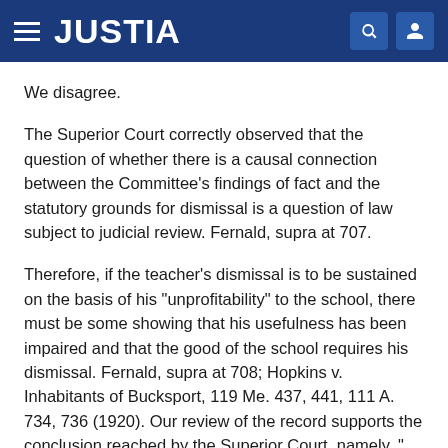JUSTIA
We disagree.
The Superior Court correctly observed that the question of whether there is a causal connection between the Committee's findings of fact and the statutory grounds for dismissal is a question of law subject to judicial review. Fernald, supra at 707.
Therefore, if the teacher's dismissal is to be sustained on the basis of his "unprofitability" to the school, there must be some showing that his usefulness has been impaired and that the good of the school requires his dismissal. Fernald, supra at 708; Hopkins v. Inhabitants of Bucksport, 119 Me. 437, 441, 111 A. 734, 736 (1920). Our review of the record supports the conclusion reached by the Superior Court, namely, "[n]o causal or reasonable relation between the Plaintiff's conduct and